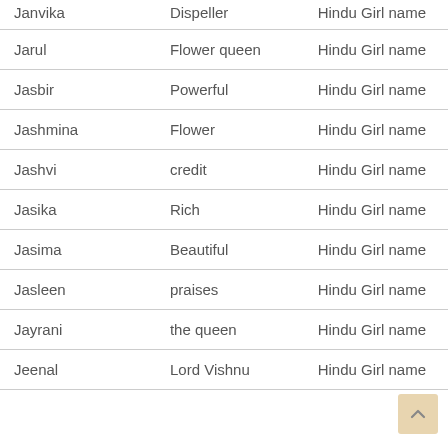| Name | Meaning | Category |
| --- | --- | --- |
| Janvika | Dispeller | Hindu Girl name |
| Jarul | Flower queen | Hindu Girl name |
| Jasbir | Powerful | Hindu Girl name |
| Jashmina | Flower | Hindu Girl name |
| Jashvi | credit | Hindu Girl name |
| Jasika | Rich | Hindu Girl name |
| Jasima | Beautiful | Hindu Girl name |
| Jasleen | praises | Hindu Girl name |
| Jayrani | the queen | Hindu Girl name |
| Jeenal | Lord Vishnu | Hindu Girl name |